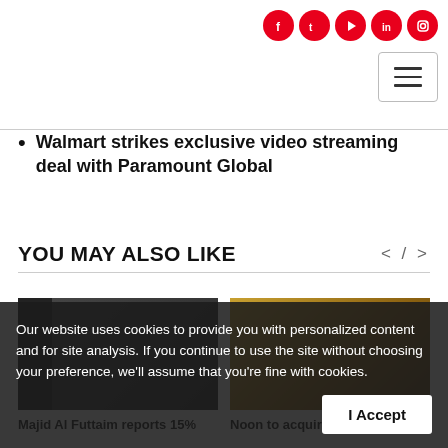Social media icons and hamburger menu
Walmart strikes exclusive video streaming deal with Paramount Global
YOU MAY ALSO LIKE
[Figure (photo): Thumbnail image of a person in dark setting]
[Figure (photo): Thumbnail image with golden/yellow background scene]
Majid Al Futtaim reports 15%
Noon to acquire Namshi for
Our website uses cookies to provide you with personalized content and for site analysis. If you continue to use the site without choosing your preference, we'll assume that you're fine with cookies.